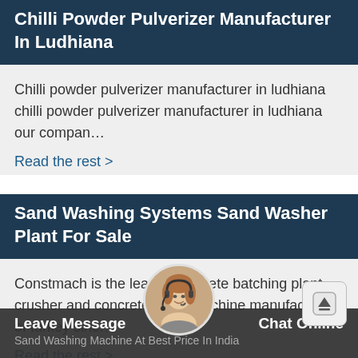Chilli Powder Pulverizer Manufacturer In Ludhiana
Chilli powder pulverizer manufacturer in ludhiana chilli powder pulverizer manufacturer in ludhiana our compan…
Read the rest >
Sand Washing Systems Sand Washer Plant For Sale
Constmach is the leader concrete batching plant crusher and concrete block machine manufacturer of turkey sinc…
Read the rest >
Leave Message   Chat Online   Sand Washing Machine At Best Price In India